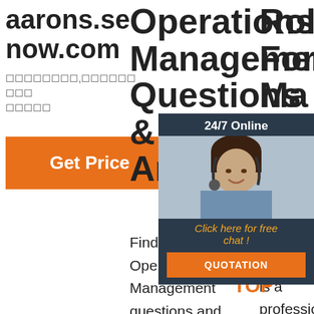aarons.se now.com
☐☐☐☐☐☐☐☐,☐☐☐☐☐☐☐☐☐ ☐☐☐☐☐
Get Price
Operations Management Questions & Answers
Find helpful Operations Management questions and answers on Chegg.com. Ask any operations management
Roll Forming Machine Ro... Pro... For... Lin...
[Figure (photo): Customer service representative woman with headset, smiling, with 24/7 Online chat overlay and QUOTATION button]
Our ... is a ... professional manufacturer to produce the cold roll
[Figure (other): TOP watermark logo in orange and brown dots]